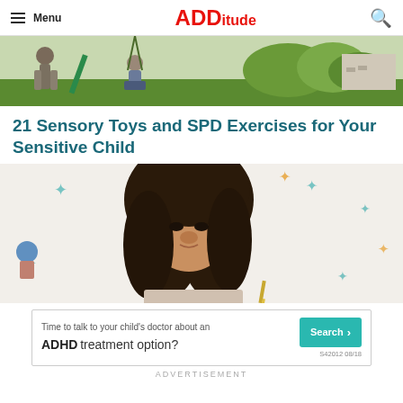Menu | ADDitude
[Figure (photo): Children playing outdoors, one on a swing/slide with green equipment, outdoor setting with trees and steps in background]
21 Sensory Toys and SPD Exercises for Your Sensitive Child
[Figure (photo): Young girl with dark hair looking down, writing or drawing, white wall with colorful butterfly decorations in background]
[Figure (other): Advertisement banner: Time to talk to your child's doctor about an ADHD treatment option? Search button. S42012 08/18]
ADVERTISEMENT